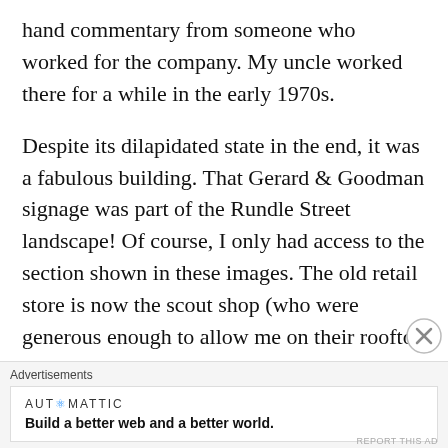hand commentary from someone who worked for the company. My uncle worked there for a while in the early 1970s.
Despite its dilapidated state in the end, it was a fabulous building. That Gerard & Goodman signage was part of the Rundle Street landscape! Of course, I only had access to the section shown in these images. The old retail store is now the scout shop (who were generous enough to allow me on their rooftop to take images of the sign). Other sections demolished years ago. I assume to make
Advertisements
AUTOMATTIC
Build a better web and a better world.